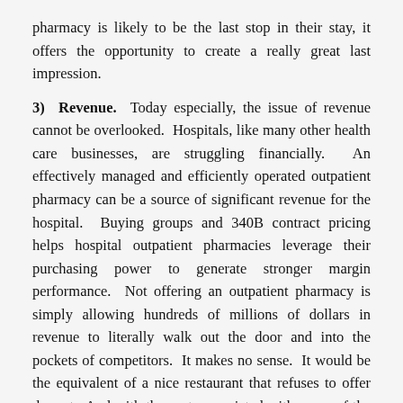pharmacy is likely to be the last stop in their stay, it offers the opportunity to create a really great last impression.
3) Revenue. Today especially, the issue of revenue cannot be overlooked. Hospitals, like many other health care businesses, are struggling financially. An effectively managed and efficiently operated outpatient pharmacy can be a source of significant revenue for the hospital. Buying groups and 340B contract pricing helps hospital outpatient pharmacies leverage their purchasing power to generate stronger margin performance. Not offering an outpatient pharmacy is simply allowing hundreds of millions of dollars in revenue to literally walk out the door and into the pockets of competitors. It makes no sense. It would be the equivalent of a nice restaurant that refuses to offer dessert. And with the costs associated with many of the newest medications continuing to rise, the revenue potential continues to rise with it.